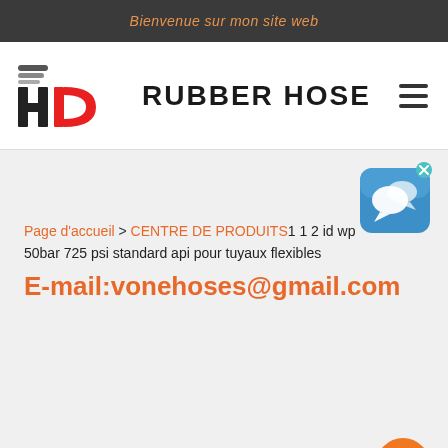Bienvenue sur mon site web
[Figure (logo): HD Rubber Hose logo with red D-shaped icon and hose graphic, brand name RUBBER HOSE in bold black caps]
Page d'accueil > CENTRE DE PRODUITS1 1 2 id wp 50bar 725 psi standard api pour tuyaux flexibles
E-mail:vonehoses@gmail.com